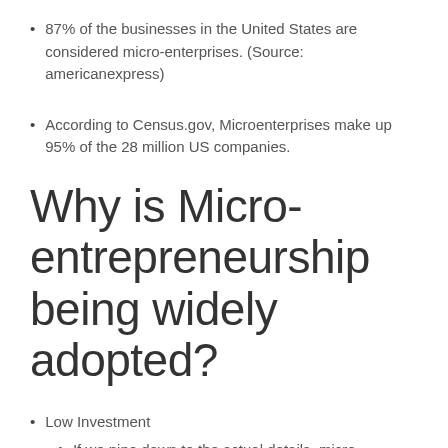87% of the businesses in the United States are considered micro-enterprises. (Source: americanexpress)
According to Census.gov, Microenterprises make up 95% of the 28 million US companies.
Why is Micro-entrepreneurship being widely adopted?
Low Investment
If we pipe down to the actual details, micro-entrepreneurship demands less